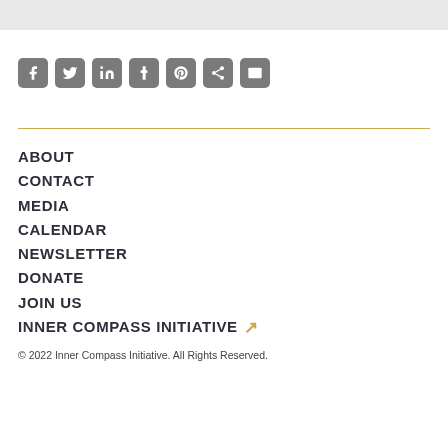[Figure (other): Row of 7 social media sharing icon buttons (Facebook, Twitter, LinkedIn, Tumblr, Pinterest, Share, Email) rendered as rounded square gray icon buttons]
ABOUT
CONTACT
MEDIA
CALENDAR
NEWSLETTER
DONATE
JOIN US
INNER COMPASS INITIATIVE ↗
© 2022 Inner Compass Initiative. All Rights Reserved.